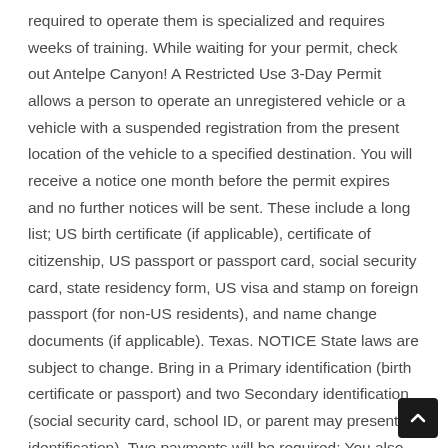required to operate them is specialized and requires weeks of training. While waiting for your permit, check out Antelpe Canyon! A Restricted Use 3-Day Permit allows a person to operate an unregistered vehicle or a vehicle with a suspended registration from the present location of the vehicle to a specified destination. You will receive a notice one month before the permit expires and no further notices will be sent. These include a long list; US birth certificate (if applicable), certificate of citizenship, US passport or passport card, social security card, state residency form, US visa and stamp on foreign passport (for non-US residents), and name change documents (if applicable). Texas. NOTICE State laws are subject to change. Bring in a Primary identification (birth certificate or passport) and two Secondary identification (social security card, school ID, or parent may present identification). Two payments will be required: You also may purchase a special 15-day "drive away" permit for vehicles being driven out of state. We recommend you complete "this application", print out and bring to our offices to